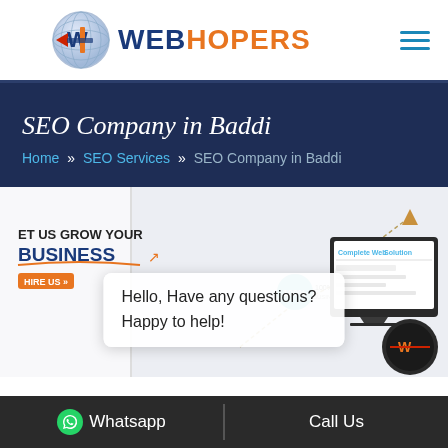[Figure (logo): WebHopers logo with globe icon and brand name 'WEBHOPERS' in blue and orange]
[Figure (illustration): Hamburger menu icon (three horizontal lines in blue)]
SEO Company in Baddi
Home » SEO Services » SEO Company in Baddi
[Figure (screenshot): Website banner showing 'LET US GROW YOUR BUSINESS' with growth chart, HIRE US button, '100% BUSINESS GROWTH' badge, and 'Complete Web Solution' laptop mockup]
Hello, Have any questions? Happy to help!
Whatsapp    Call Us